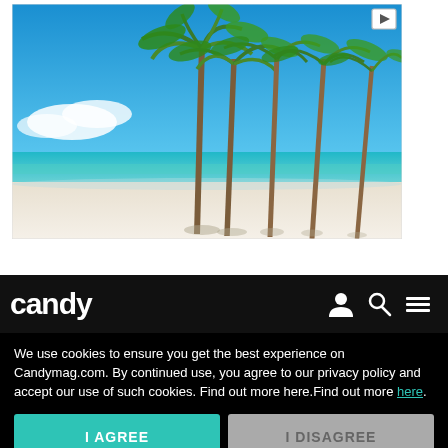[Figure (photo): Tropical beach scene with tall palm trees on white sand, turquoise ocean water, and blue sky with some clouds. Advertisement image with a play/ad icon in the top right corner.]
Read on App
candy
We use cookies to ensure you get the best experience on Candymag.com. By continued use, you agree to our privacy policy and accept our use of such cookies. Find out more here.Find out more here.
I AGREE
I DISAGREE